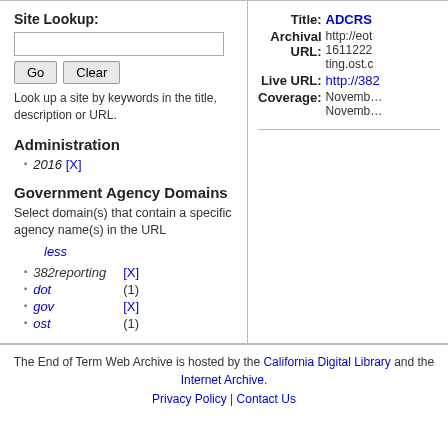Site Lookup:
Look up a site by keywords in the title, description or URL.
Administration
2016 [X]
Government Agency Domains
Select domain(s) that contain a specific agency name(s) in the URL
less
382reporting [X]
dot   (1)
gov   [X]
ost   (1)
Title: ADCRS
Archival URL: http://eot 1611222 ting.ost.c
Live URL: http://382
Coverage: November November
The End of Term Web Archive is hosted by the California Digital Library and the Internet Archive. Privacy Policy | Contact Us